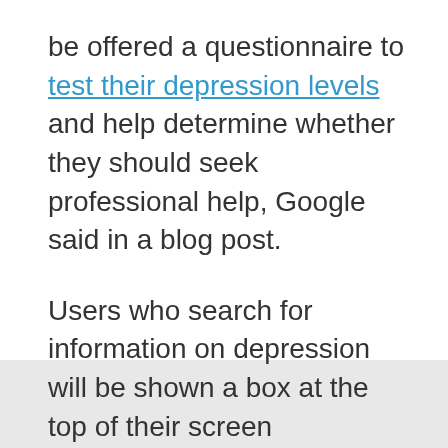be offered a questionnaire to test their depression levels and help determine whether they should seek professional help, Google said in a blog post.

Users who search for information on depression will be shown a box at the top of their screen encouraging them to “check if you’re clinically depressed.” The clinically validated test, called PHQ-9, asks about energy, appetite and concentration levels, among other things.